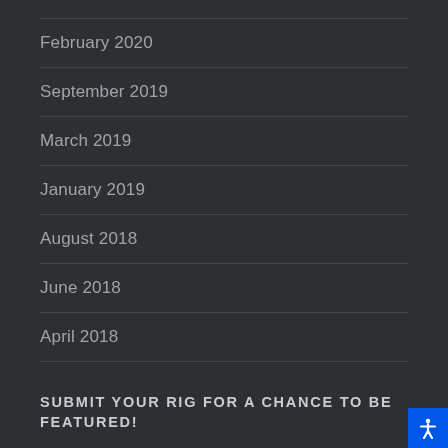February 2020
September 2019
March 2019
January 2019
August 2018
June 2018
April 2018
SUBMIT YOUR RIG FOR A CHANCE TO BE FEATURED!
Email